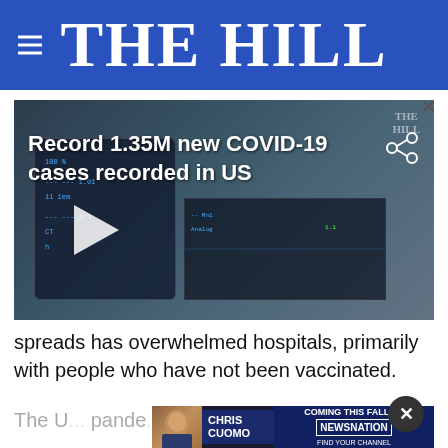THE HILL
[Figure (screenshot): Video thumbnail showing medical device with text overlay 'Record 1.35M new COVID-19 cases recorded in US' and The Hill watermark and share icon]
spreads has overwhelmed hospitals, primarily with people who have not been vaccinated.
The U... pande... were quickl...